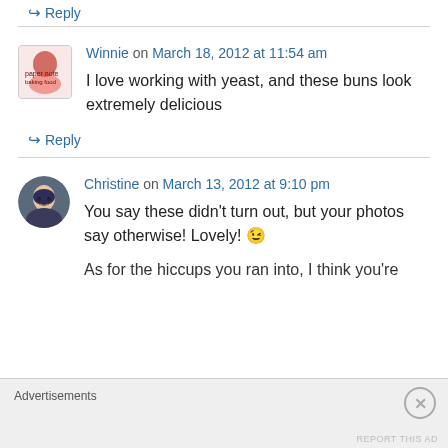↳ Reply
Winnie on March 18, 2012 at 11:54 am
I love working with yeast, and these buns look extremely delicious
↳ Reply
Christine on March 13, 2012 at 9:10 pm
You say these didn't turn out, but your photos say otherwise! Lovely! 😉
As for the hiccups you ran into, I think you're
Advertisements
REPORT THIS AD